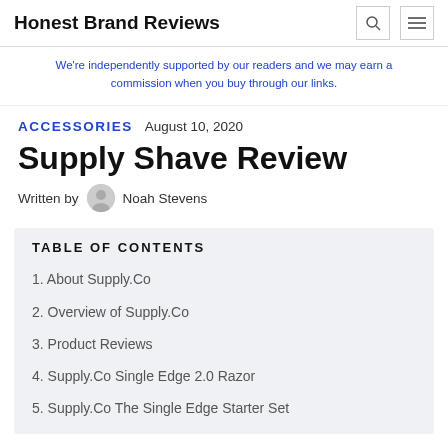Honest Brand Reviews
We're independently supported by our readers and we may earn a commission when you buy through our links.
ACCESSORIES   August 10, 2020
Supply Shave Review
Written by Noah Stevens
TABLE OF CONTENTS
1. About Supply.Co
2. Overview of Supply.Co
3. Product Reviews
4. Supply.Co Single Edge 2.0 Razor
5. Supply.Co The Single Edge Starter Set